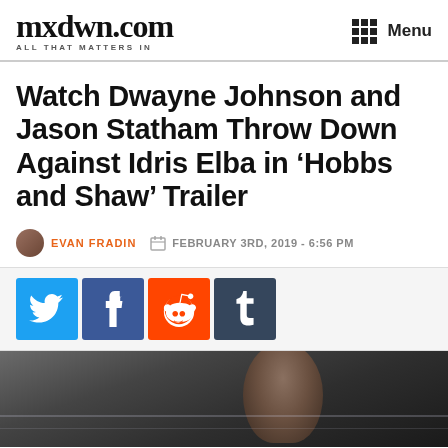mxdwn.com — ALL THAT MATTERS IN | Menu
Watch Dwayne Johnson and Jason Statham Throw Down Against Idris Elba in ‘Hobbs and Shaw’ Trailer
EVAN FRADIN — FEBRUARY 3RD, 2019 - 6:56 PM
[Figure (other): Social share buttons: Twitter (blue bird icon), Facebook (white f on dark blue), Reddit (orange alien icon), Tumblr (dark blue t)]
[Figure (photo): Photo of a bald man, likely Dwayne Johnson, from a movie scene — dark background, close-up face shot]